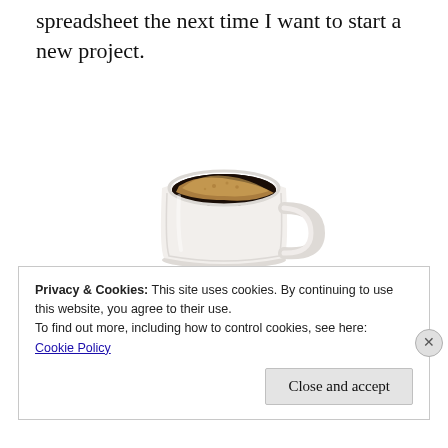spreadsheet the next time I want to start a new project.
[Figure (photo): A white ceramic coffee cup filled with black coffee and light foam, sitting on a white saucer, photographed against a white background.]
Privacy & Cookies: This site uses cookies. By continuing to use this website, you agree to their use.
To find out more, including how to control cookies, see here:
Cookie Policy

Close and accept